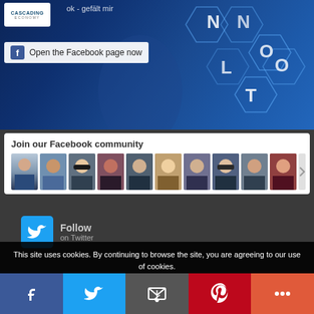[Figure (screenshot): Hero banner image with hexagonal network pattern and technology background, includes Cascading Economy logo and Facebook open page button]
Open the Facebook page now
Join our Facebook community
[Figure (photo): Row of profile photo thumbnails showing various people faces - community members]
[Figure (screenshot): Twitter Follow button with blue Twitter bird icon]
Follow
on Twitter
This site uses cookies. By continuing to browse the site, you are agreeing to our use of cookies.
Innovation & Sustainability Reuniting our Communities
[Figure (infographic): Bottom social sharing bar with Facebook, Twitter, Email, Pinterest and More buttons]